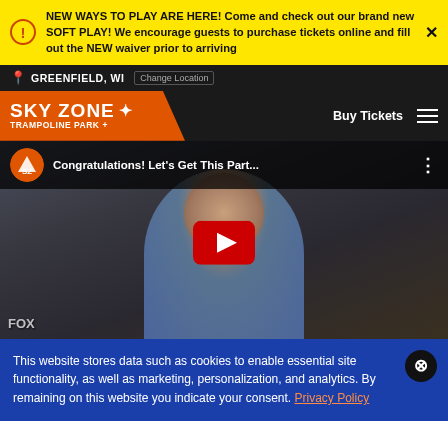NEW WAYS TO PLAY ARE HERE! Come and check out our brand new SOFT PLAY! We encourage guests to purchase tickets online and fill out the NEW waiver prior to arriving
GREENFIELD, WI  Change Location
[Figure (logo): Sky Zone Trampoline Park+ logo on orange background with nav bar showing Buy Tickets]
[Figure (screenshot): YouTube video thumbnail: Congratulations! Let's Get This Part... with play button overlay, person in light blue shirt]
This website stores data such as cookies to enable essential site functionality, as well as marketing, personalization, and analytics. By remaining on this website you indicate your consent. Privacy Policy